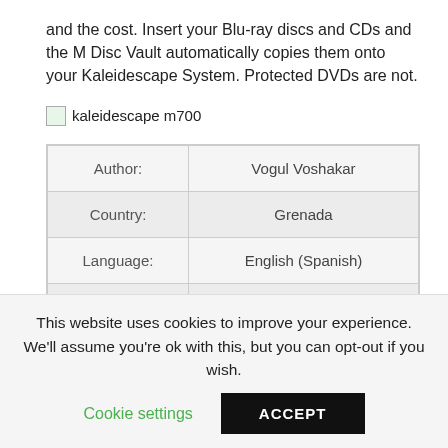and the cost. Insert your Blu-ray discs and CDs and the M Disc Vault automatically copies them onto your Kaleidescape System. Protected DVDs are not.
[Figure (photo): Broken image placeholder labeled 'kaleidescape m700']
| Author: | Vogul Voshakar |
| Country: | Grenada |
| Language: | English (Spanish) |
| Genre: | Travel |
| Published (Last): | 21 November 2014 |
This website uses cookies to improve your experience. We'll assume you're ok with this, but you can opt-out if you wish.
Cookie settings  ACCEPT